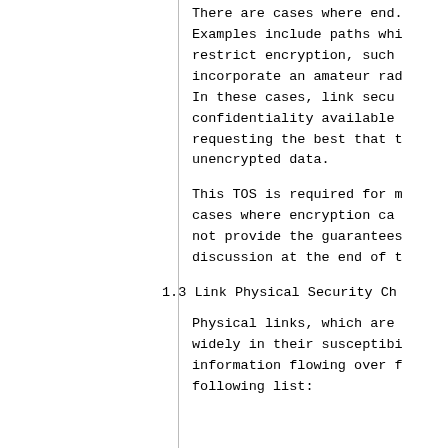There are cases where end. Examples include paths whi restrict encryption, such incorporate an amateur rad In these cases, link secu confidentiality available requesting the best that t unencrypted data.
This TOS is required for m cases where encryption ca not provide the guarantees discussion at the end of t
1.3 Link Physical Security Ch
Physical links, which are widely in their susceptibi information flowing over f following list: